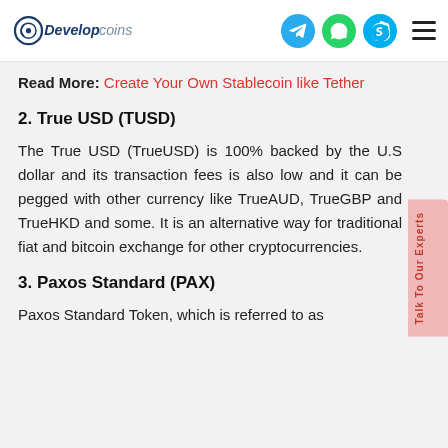Developcoins [logo with navigation icons]
Read More: Create Your Own Stablecoin like Tether
2. True USD (TUSD)
The True USD (TrueUSD) is 100% backed by the U.S dollar and its transaction fees is also low and it can be pegged with other currency like TrueAUD, TrueGBP and TrueHKD and some. It is an alternative way for traditional fiat and bitcoin exchange for other cryptocurrencies.
3. Paxos Standard (PAX)
Paxos Standard Token, which is referred to as